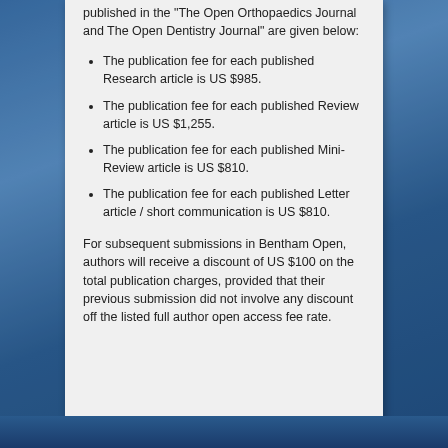published in the "The Open Orthopaedics Journal and The Open Dentistry Journal" are given below:
The publication fee for each published Research article is US $985.
The publication fee for each published Review article is US $1,255.
The publication fee for each published Mini-Review article is US $810.
The publication fee for each published Letter article / short communication is US $810.
For subsequent submissions in Bentham Open, authors will receive a discount of US $100 on the total publication charges, provided that their previous submission did not involve any discount off the listed full author open access fee rate.